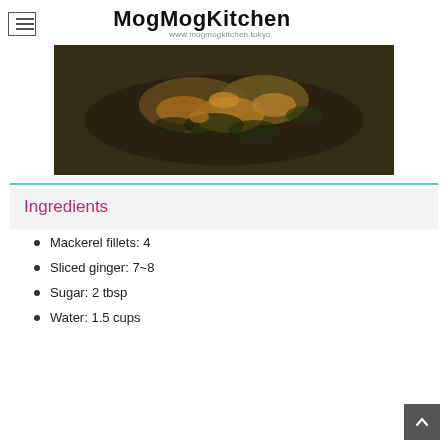MogMogKitchen
www.mogmogkitchen.tokyo
[Figure (photo): Close-up photo of cooked mackerel fillets with dark glaze and ginger slices on a dark surface]
Ingredients
Mackerel fillets: 4
Sliced ginger: 7~8
Sugar: 2 tbsp
Water: 1.5 cups